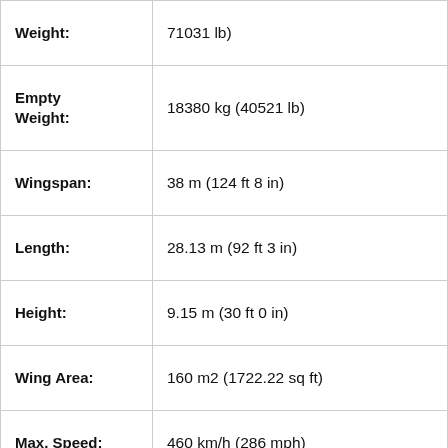| Specification | Value |
| --- | --- |
| Weight: | 71031 lb) |
| Empty Weight: | 18380 kg (40521 lb) |
| Wingspan: | 38 m (124 ft 8 in) |
| Length: | 28.13 m (92 ft 3 in) |
| Height: | 9.15 m (30 ft 0 in) |
| Wing Area: | 160 m2 (1722.22 sq ft) |
| Max. Speed: | 460 km/h (286 mph) |
| Cruise Speed: | 290 km/h (180 mph) |
| Ceiling: | 8850 m (29050 ft) |
| Range | 7050 km (4381 miles) |